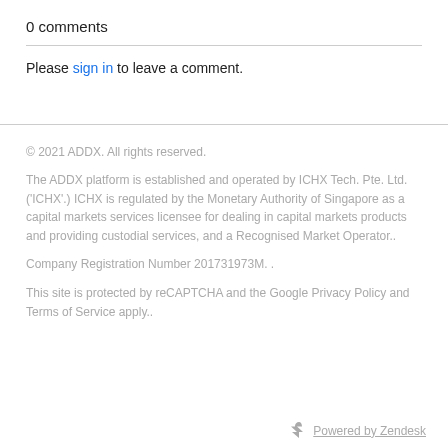0 comments
Please sign in to leave a comment.
© 2021 ADDX. All rights reserved.
The ADDX platform is established and operated by ICHX Tech. Pte. Ltd. ('ICHX'.) ICHX is regulated by the Monetary Authority of Singapore as a capital markets services licensee for dealing in capital markets products and providing custodial services, and a Recognised Market Operator..
Company Registration Number 201731973M. .
This site is protected by reCAPTCHA and the Google Privacy Policy and Terms of Service apply..
Powered by Zendesk